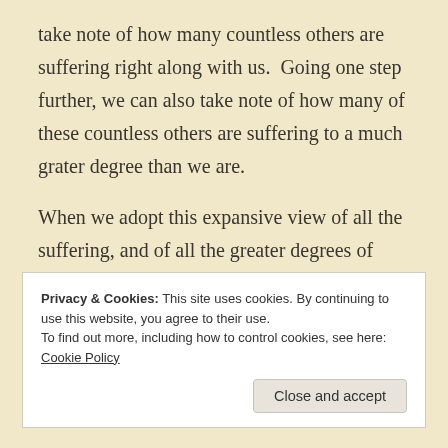take note of how many countless others are suffering right along with us.  Going one step further, we can also take note of how many of these countless others are suffering to a much grater degree than we are.
When we adopt this expansive view of all the suffering, and of all the greater degrees of suffering, that are occurring outside the narrow confines of our own limited experience – when we truly take it
Privacy & Cookies: This site uses cookies. By continuing to use this website, you agree to their use.
To find out more, including how to control cookies, see here: Cookie Policy
Close and accept